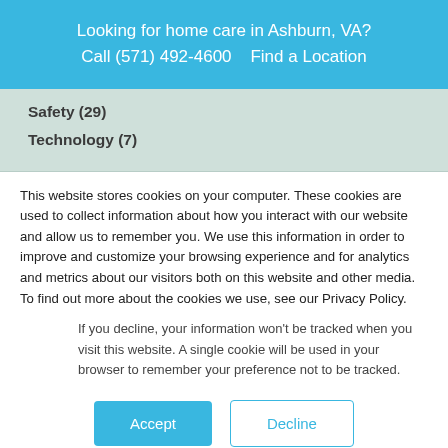Looking for home care in Ashburn, VA?
Call (571) 492-4600    Find a Location
Safety (29)
Technology (7)
This website stores cookies on your computer. These cookies are used to collect information about how you interact with our website and allow us to remember you. We use this information in order to improve and customize your browsing experience and for analytics and metrics about our visitors both on this website and other media. To find out more about the cookies we use, see our Privacy Policy.
If you decline, your information won't be tracked when you visit this website. A single cookie will be used in your browser to remember your preference not to be tracked.